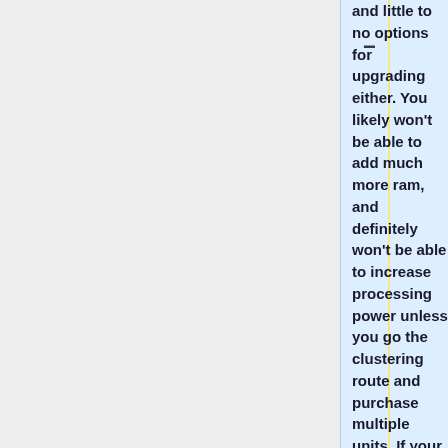and little to no options for upgrading either. You likely won't be able to add much more ram, and definitely won't be able to increase processing power unless you go the clustering route and purchase multiple units. If your use case is compute intensive or would require expansion cards (like a